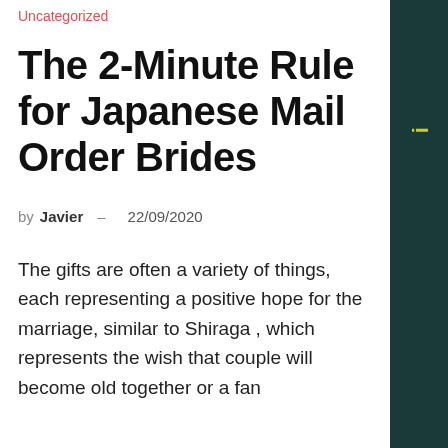Uncategorized
The 2-Minute Rule for Japanese Mail Order Brides
by Javier – 22/09/2020
The gifts are often a variety of things, each representing a positive hope for the marriage, similar to Shiraga , which represents the wish that couple will become old together or a fan